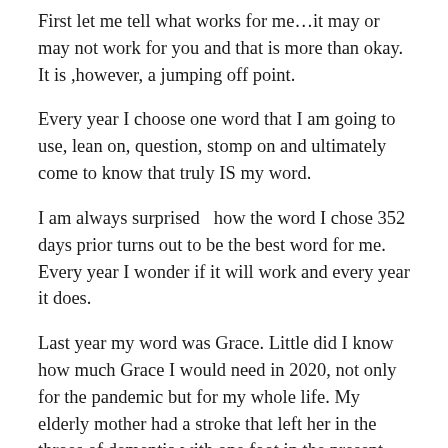First let me tell what works for me…it may or may not work for you and that is more than okay.  It is ,however, a jumping off point.
Every year I choose one word that I am going to use, lean on, question, stomp on and ultimately come to know that truly IS my word.
I am always surprised  how the word I chose 352 days prior turns out to be the best word for me.  Every year I wonder if it will work and every year it does.
Last year my word was Grace.  Little did I know how much Grace I would need in 2020, not only for the pandemic but for my whole life.  My elderly mother had a stroke that left her in the throes of dementia with one foot in the present and the rest of her in the past.   Add Covid quarantine into the mix and I needed all the Grace I could muster.  Even though 2020 is over